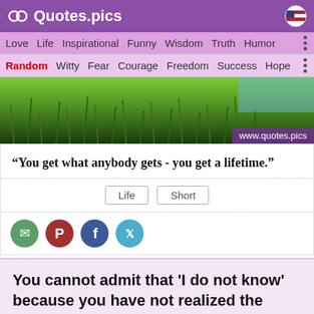Quotes.pics
Love  Life  Inspirational  Funny  Wisdom  Truth  Humor
Random  Witty  Fear  Courage  Freedom  Success  Hope
[Figure (photo): Grass/nature background photo with www.quotes.pics watermark]
“You get what anybody gets - you get a lifetime.”
Life  Short
[Figure (infographic): Social share icons: WhatsApp, Pinterest, Facebook, Twitter]
You cannot admit that 'I do not know' because you have not realized the immensity of 'I do not know.' 'I do